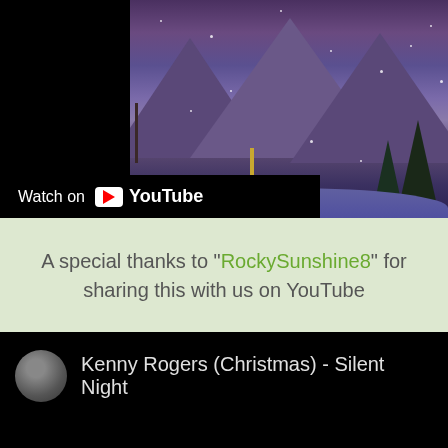[Figure (screenshot): YouTube video thumbnail showing a snowy Christmas village scene with mountains, church steeple, glowing houses, and dark trees. Left side is black. 'Watch on YouTube' bar overlaid at bottom left.]
A special thanks to "RockySunshine8" for sharing this with us on YouTube
[Figure (screenshot): Embedded YouTube video player (dark/black) showing Kenny Rogers (Christmas) - Silent Night with a round avatar thumbnail in the top left corner.]